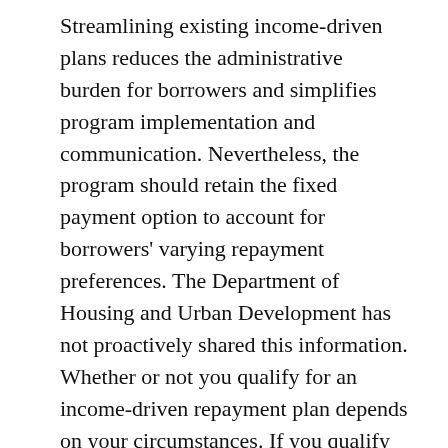Streamlining existing income-driven plans reduces the administrative burden for borrowers and simplifies program implementation and communication. Nevertheless, the program should retain the fixed payment option to account for borrowers' varying repayment preferences. The Department of Housing and Urban Development has not proactively shared this information. Whether or not you qualify for an income-driven repayment plan depends on your circumstances. If you qualify for an income-driven repayment plan, the next step is to apply.
In order to qualify for income-driven